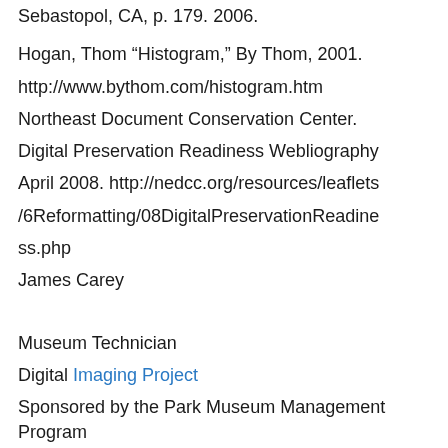Sebastopol, CA, p. 179. 2006.
Hogan, Thom “Histogram,” By Thom, 2001.
http://www.bythom.com/histogram.htm
Northeast Document Conservation Center.
Digital Preservation Readiness Webliography
April 2008. http://nedcc.org/resources/leaflets /6Reformatting/08DigitalPreservationReadiness.php
James Carey
Museum Technician
Digital Imaging Project
Sponsored by the Park Museum Management Program
National Park Service